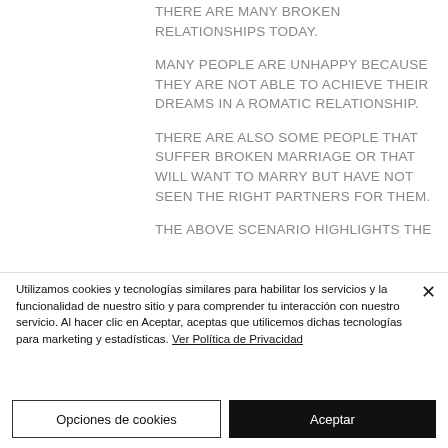THERE ARE MANY BROKEN RELATIONSHIPS TODAY.

MANY PEOPLE ARE UNHAPPY BECAUSE THEY ARE NOT ABLE TO ACHIEVE THEIR DREAMS IN A ROMATIC RELATIONSHIP.

THERE ARE ALSO SOME PEOPLE THAT SUFFER BROKEN MARRIAGE OR THAT WILL WANT TO MARRY BUT HAVE NOT SEEN THE RIGHT PARTNERS FOR THEM.

THE ABOVE SCENARIO HIGHLIGHTS THE
Utilizamos cookies y tecnologías similares para habilitar los servicios y la funcionalidad de nuestro sitio y para comprender tu interacción con nuestro servicio. Al hacer clic en Aceptar, aceptas que utilicemos dichas tecnologías para marketing y estadísticas. Ver Política de Privacidad